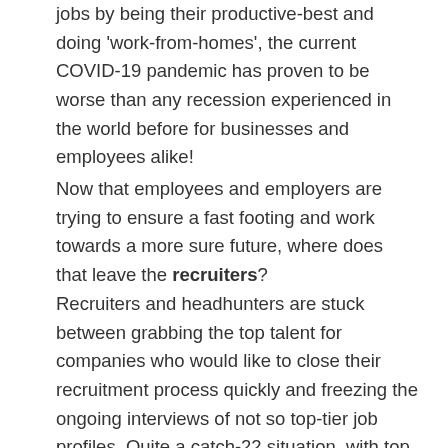jobs by being their productive-best and doing 'work-from-homes', the current COVID-19 pandemic has proven to be worse than any recession experienced in the world before for businesses and employees alike!
Now that employees and employers are trying to ensure a fast footing and work towards a more sure future, where does that leave the recruiters?
Recruiters and headhunters are stuck between grabbing the top talent for companies who would like to close their recruitment process quickly and freezing the ongoing interviews of not so top-tier job profiles. Quite a catch-22 situation, with top talent not so willing to start a new job with a different company just yet, and